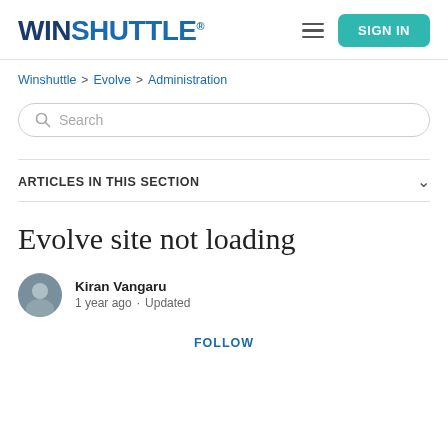WINSHUTTLE® | SIGN IN
Winshuttle > Evolve > Administration
Search
ARTICLES IN THIS SECTION
Evolve site not loading
Kiran Vangaru
1 year ago · Updated
FOLLOW